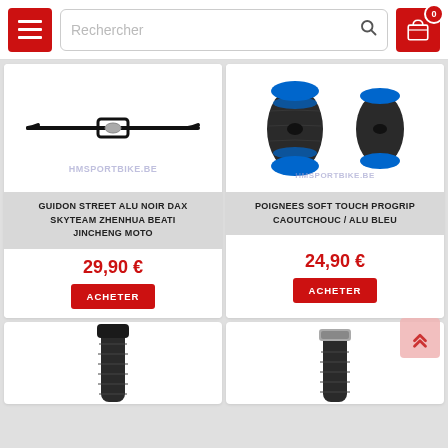Rechercher — HM Sport Bike navigation header
[Figure (photo): Black aluminum handlebar for street motorcycle with HMSPORTBIKE.BE watermark]
GUIDON STREET ALU NOIR DAX SKYTEAM ZHENHUA BEATI JINCHENG MOTO
29,90 €
ACHETER
[Figure (photo): Blue and black soft touch pro grip handlebar grips (pair) with HMSPORTBIKE.BE watermark]
POIGNEES SOFT TOUCH PROGRIP CAOUTCHOUC / ALU BLEU
24,90 €
ACHETER
[Figure (photo): Dark handlebar grip product - partial view at bottom]
[Figure (photo): Dark handlebar grip with silver ring - partial view at bottom]